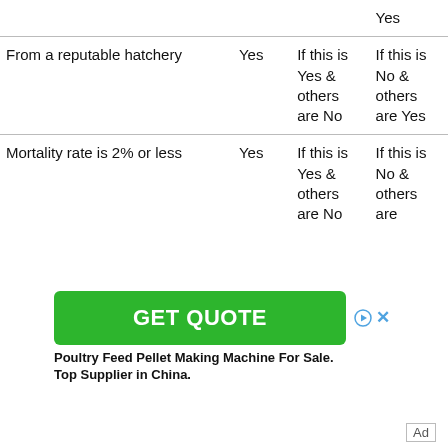|  |  |  | Yes |
| --- | --- | --- | --- |
| From a reputable hatchery | Yes | If this is Yes & others are No | If this is No & others are Yes |
| Mortality rate is 2% or less | Yes | If this is Yes & others are No | If this is No & others are |
[Figure (infographic): Green GET QUOTE advertisement button with play and close icons]
Poultry Feed Pellet Making Machine For Sale. Top Supplier in China.
Ad